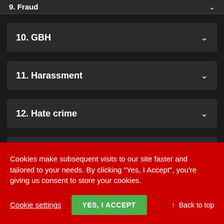9. Fraud
10. GBH
11. Harassment
12. Hate crime
13. ...
Cookies make subsequent visits to our site faster and tailored to your needs. By clicking "Yes, I Accept", you're giving us consent to store your cookies.
Cookie settings
YES, I ACCEPT
↑ Back to top